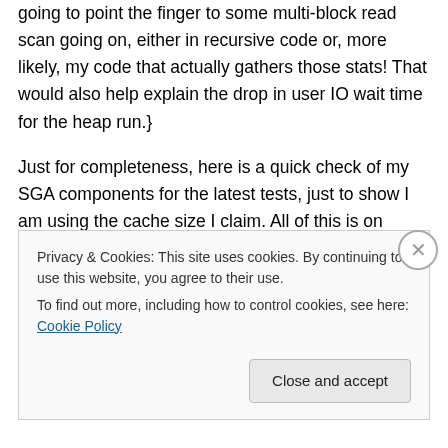going to point the finger to some multi-block read scan going on, either in recursive code or, more likely, my code that actually gathers those stats! That would also help explain the drop in user IO wait time for the heap run.}
Just for completeness, here is a quick check of my SGA components for the latest tests, just to show I am using the cache size I claim. All of this is on Oracle 11.1 enterprise edition, on a tired old Windows laptop. {NB new laptop arrived today – you have no idea how hard it has been to keep doing this blog and not play with the new toy!!!}. If anyone wants the test scripts in full, send me a
Privacy & Cookies: This site uses cookies. By continuing to use this website, you agree to their use.
To find out more, including how to control cookies, see here: Cookie Policy
Close and accept